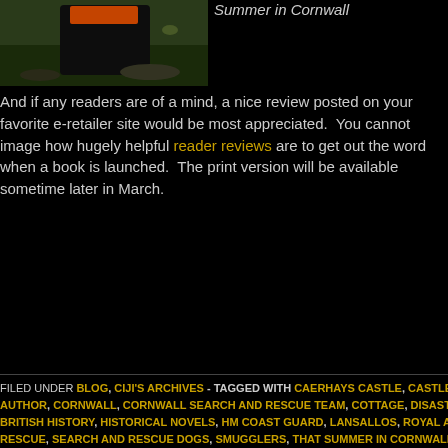[Figure (photo): Outdoor photo showing a person or object near grass and rocks, partial view, dark scene]
Summer in Cornwall
And if any readers are of a mind, a nice review posted on your favorite e-retailer site would be most appreciated. You cannot image how hugely helpful reader reviews are to get out the word when a book is launched. The print version will be available sometime later in March.
FILED UNDER BLOG, CIJI'S ARCHIVES - TAGGED WITH CAERHAYS CASTLE, CASTLES AUTHOR, CORNWALL, CORNWALL SEARCH AND RESCUE TEAM, COTTAGE, DISASTE BRITISH HISTORY, HISTORICAL NOVELS, HM COAST GUARD, LANSALLOS, ROYAL AI RESCUE, SEARCH AND RESCUE DOGS, SMUGGLERS, THAT SUMMER IN CORNWALL